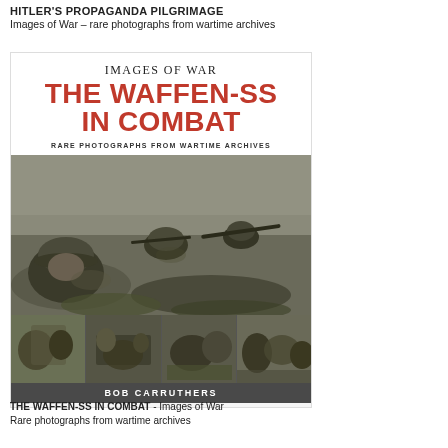HITLER'S PROPAGANDA PILGRIMAGE
Images of War – rare photographs from wartime archives
[Figure (photo): Book cover for 'The Waffen-SS in Combat' from the Images of War series by Bob Carruthers. Features the series name at top, bold red title text, subtitle 'Rare Photographs from Wartime Archives', a large black-and-white photograph of Waffen-SS soldiers crawling through grass, a strip of four smaller combat photographs, and the author name Bob Carruthers at the bottom.]
THE WAFFEN-SS IN COMBAT - Images of War
Rare photographs from wartime archives